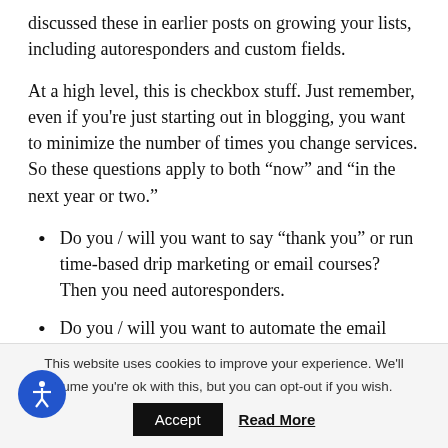discussed these in earlier posts on growing your lists, including autoresponders and custom fields.
At a high level, this is checkbox stuff. Just remember, even if you're just starting out in blogging, you want to minimize the number of times you change services. So these questions apply to both “now” and “in the next year or two.”
Do you / will you want to say “thank you” or run time-based drip marketing or email courses? Then you need autoresponders.
Do you / will you want to automate the email process completely from your blog, or spend time constructing additional editorial content (Why?
This website uses cookies to improve your experience. We'll assume you're ok with this, but you can opt-out if you wish.